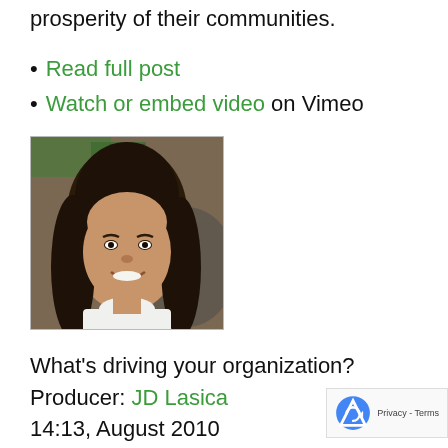prosperity of their communities.
Read full post
Watch or embed video on Vimeo
[Figure (photo): Portrait photo of a young woman with long dark hair, smiling, wearing a white turtleneck, with a blurred background]
What’s driving your organization?
Producer: JD Lasica
14:13, August 2010
Pamela Hawley, founder and CEO of UniversalGiving, discusses her recent talks at C and at TEDx about key strategies for corporate